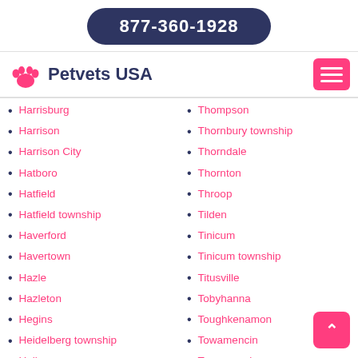877-360-1928
Petvets USA
Harrisburg
Harrison
Harrison City
Hatboro
Hatfield
Hatfield township
Haverford
Havertown
Hazle
Hazleton
Hegins
Heidelberg township
Hellam
Thompson
Thornbury township
Thorndale
Thornton
Throop
Tilden
Tinicum
Tinicum township
Titusville
Tobyhanna
Toughkenamon
Towamencin
Towamensing